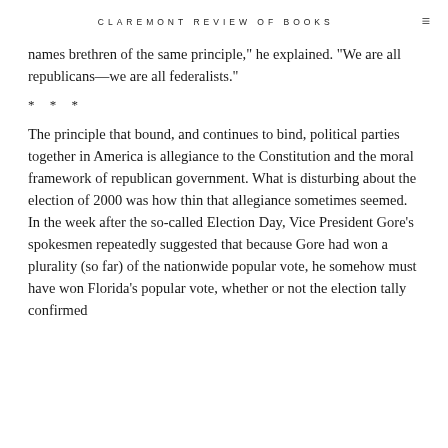CLAREMONT REVIEW OF BOOKS
names brethren of the same principle," he explained. "We are all republicans—we are all federalists."
* * *
The principle that bound, and continues to bind, political parties together in America is allegiance to the Constitution and the moral framework of republican government. What is disturbing about the election of 2000 was how thin that allegiance sometimes seemed. In the week after the so-called Election Day, Vice President Gore's spokesmen repeatedly suggested that because Gore had won a plurality (so far) of the nationwide popular vote, he somehow must have won Florida's popular vote, whether or not the election tally confirmed